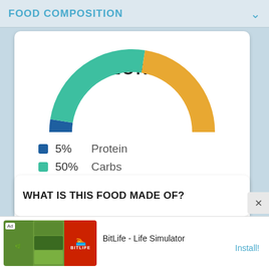FOOD COMPOSITION
[Figure (donut-chart): CALORIES]
5%  Protein
50%  Carbs
45%  Fat
0%  Alcohol
WHAT IS THIS FOOD MADE OF?
[Figure (screenshot): Advertisement banner for BitLife - Life Simulator app with Install! button]